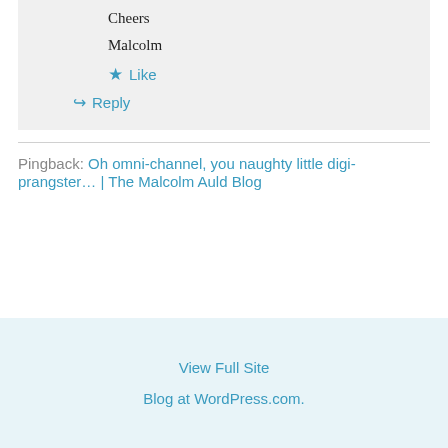Cheers
Malcolm
★ Like
↪ Reply
Pingback: Oh omni-channel, you naughty little digi-prangster... | The Malcolm Auld Blog
View Full Site
Blog at WordPress.com.